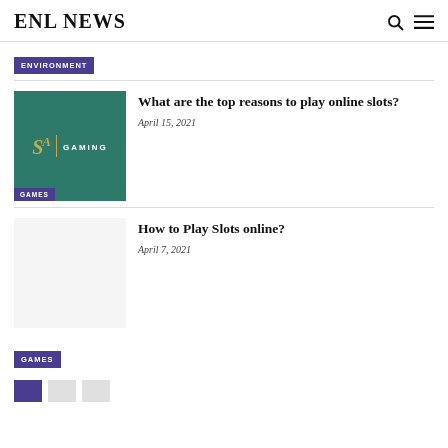ENL NEWS
ENVIRONMENT
[Figure (logo): SA Gaming logo on teal background with GAMES badge]
What are the top reasons to play online slots?
April 15, 2021
How to Play Slots online?
April 7, 2021
GAMES